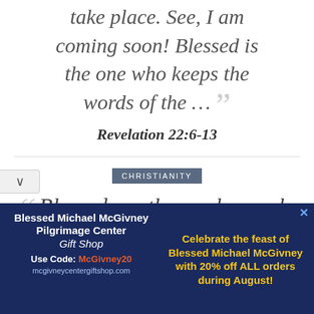take place. See, I am coming soon! Blessed is the one who keeps the words of the … ”
Revelation 22:6-13
CHRISTIANITY
“ Blessed are those who wash their robes, that they may
[Figure (other): Advertisement for Blessed Michael McGivney Pilgrimage Center Gift Shop with code McGivney20 for 20% off all orders during August]